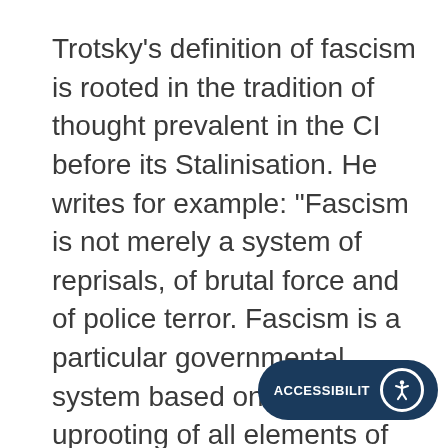Trotsky's definition of fascism is rooted in the tradition of thought prevalent in the CI before its Stalinisation. He writes for example: "Fascism is not merely a system of reprisals, of brutal force and of police terror. Fascism is a particular governmental system based on the uprooting of all elements of proletarian democracy within bourgeois society. The task of fascism lies not only in destroying the Communist vanguard but in holding the entire class in a state of forced disunity. To this end the physical annihilation of the most revolutionary section of the workers